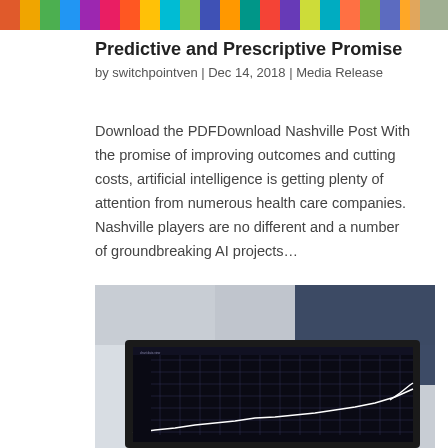[Figure (photo): Colorful pencils or crayons arranged in a row, cropped at the top of the page]
Predictive and Prescriptive Promise
by switchpointven | Dec 14, 2018 | Media Release
Download the PDFDownload Nashville Post With the promise of improving outcomes and cutting costs, artificial intelligence is getting plenty of attention from numerous health care companies. Nashville players are no different and a number of groundbreaking AI projects…
[Figure (photo): Photo of a laptop screen displaying a financial or data chart with grid lines, photographed from an angle in a dark setting]